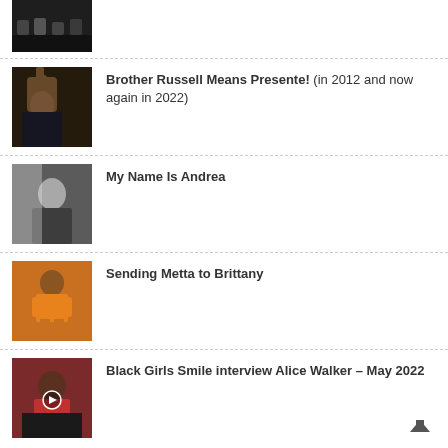[Figure (photo): Dark thumbnail of audience/crowd scene, partially visible at top]
Brother Russell Means Presente! (in 2012 and now again in 2022)
My Name Is Andrea
Sending Metta to Brittany
Black Girls Smile interview Alice Walker – May 2022